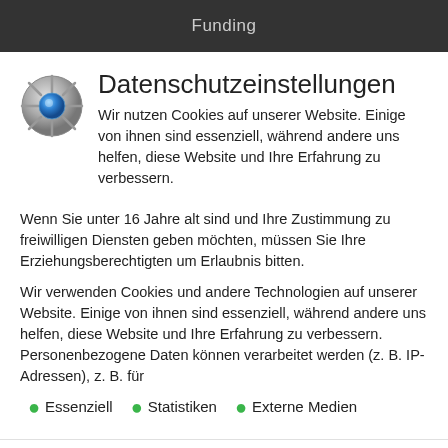Funding
Datenschutzeinstellungen
Wir nutzen Cookies auf unserer Website. Einige von ihnen sind essenziell, während andere uns helfen, diese Website und Ihre Erfahrung zu verbessern.
Wenn Sie unter 16 Jahre alt sind und Ihre Zustimmung zu freiwilligen Diensten geben möchten, müssen Sie Ihre Erziehungsberechtigten um Erlaubnis bitten.
Wir verwenden Cookies und andere Technologien auf unserer Website. Einige von ihnen sind essenziell, während andere uns helfen, diese Website und Ihre Erfahrung zu verbessern. Personenbezogene Daten können verarbeitet werden (z. B. IP-Adressen), z. B. für
Essenziell
Statistiken
Externe Medien
Ich akzeptiere